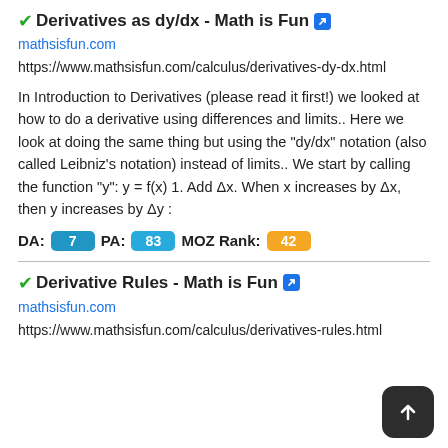✔Derivatives as dy/dx - Math is Fun 🔗
mathsisfun.com
https://www.mathsisfun.com/calculus/derivatives-dy-dx.html
In Introduction to Derivatives (please read it first!) we looked at how to do a derivative using differences and limits.. Here we look at doing the same thing but using the "dy/dx" notation (also called Leibniz's notation) instead of limits.. We start by calling the function "y": y = f(x) 1. Add Δx. When x increases by Δx, then y increases by Δy :
DA: 7  PA: 83  MOZ Rank: 42
✔Derivative Rules - Math is Fun 🔗
mathsisfun.com
https://www.mathsisfun.com/calculus/derivatives-rules.html